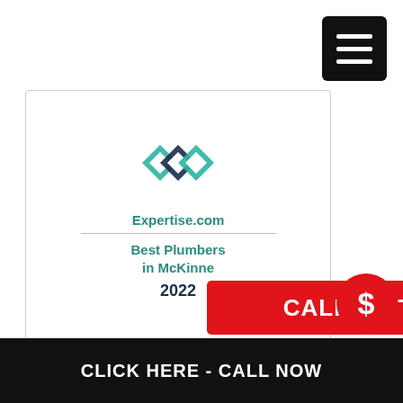[Figure (logo): Hamburger menu button (three white horizontal lines on black square background) in top-right corner]
[Figure (logo): Expertise.com award badge: teal diamond logo, 'Expertise.com' text, 'Best Plumbers in McKinne' text, '2022', with laurel wreath decoration]
[Figure (infographic): Red rectangle button with white bold text 'CALL US TODAY']
[Figure (logo): Red circle with white dollar sign '$']
CLICK HERE - CALL NOW